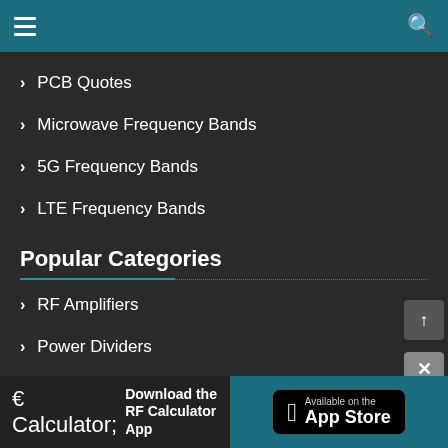Navigation header with hamburger menu and search icon
PCB Quotes
Microwave Frequency Bands
5G Frequency Bands
LTE Frequency Bands
Popular Categories
RF Amplifiers
Power Dividers
SATCOM Products
Test & Measurement
Waveguide Components
Wireless Infrastructure
Download the RF Calculator App — Available on the App Store